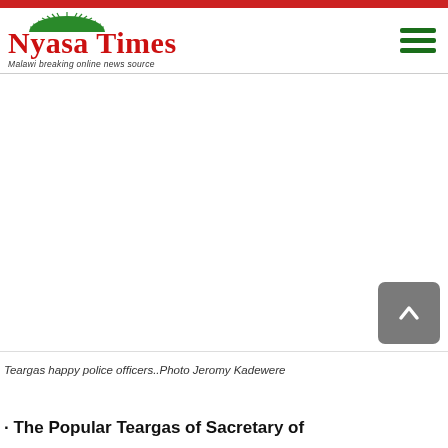Nyasa Times — Malawi breaking online news source
[Figure (screenshot): Blank/white content area with a gray back-to-top button (chevron up icon) in the lower right]
Teargas happy police officers..Photo Jeromy Kadewere
The Popular Teargas of Sacretary of...